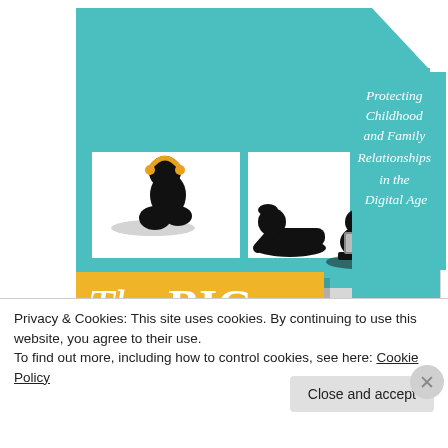[Figure (illustration): Book cover for 'The Big Disconnect: Protecting Childhood and Family Relationships in the Digital Age'. Features a teal house illustration with three windows showing silhouettes of children (one sitting hugging knees with headphones, one lying down, one using a laptop). A yellow banner reads 'The BIG' and a red banner reads 'DISCONNECT'. The subtitle on a teal background reads 'Protecting Childhood and Family Relationships in the Digital Age' in white italic text.]
Privacy & Cookies: This site uses cookies. By continuing to use this website, you agree to their use.
To find out more, including how to control cookies, see here: Cookie Policy
Close and accept